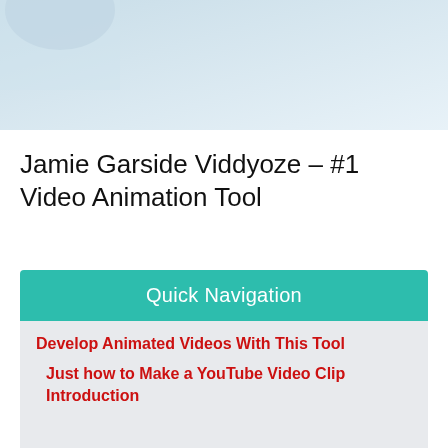[Figure (photo): Partial photo at top of page, showing a light blue/white blurred background with what appears to be an object partially visible at the top left corner.]
Jamie Garside Viddyoze – #1 Video Animation Tool
Quick Navigation
Develop Animated Videos With This Tool
Just how to Make a YouTube Video Clip Introduction